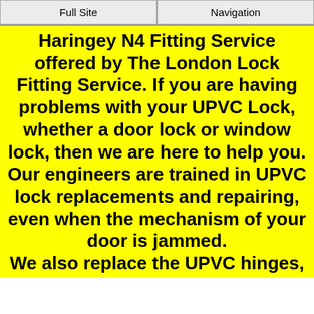Full Site | Navigation
Haringey N4 Fitting Service offered by The London Lock Fitting Service. If you are having problems with your UPVC Lock, whether a door lock or window lock, then we are here to help you. Our engineers are trained in UPVC lock replacements and repairing, even when the mechanism of your door is jammed. We also replace the UPVC hinges,